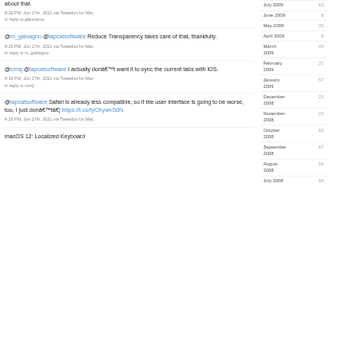about that.
8:26 PM, Jun 17th, 2021 via Tweetbot for Mac
in reply to galooticus
@m_galvagno @lapcatsoftware Reduce Transparency takes care of that, thankfully.
8:25 PM, Jun 17th, 2021 via Tweetbot for Mac
in reply to m_galvagno
@cmsj @lapcatsoftware I actually donât want it to sync the current tabs with iOS.
4:32 PM, Jun 17th, 2021 via Tweetbot for Mac
in reply to cmsj
@lapcatsoftware Safari is already less compatible, so if the user interface is going to be worse, too, I just donâtâ¦ https://t.co/fyCKywxS0N
4:23 PM, Jun 17th, 2021 via Tweetbot for Mac
macOS 12: Localized Keyboard
July 2009  63
June 2009  8
May 2009  35
April 2009  8
March 2009  45
February 2009  21
January 2009  57
December 2008  23
November 2008  21
October 2008  63
September 2008  67
August 2008  59
July 2008  69